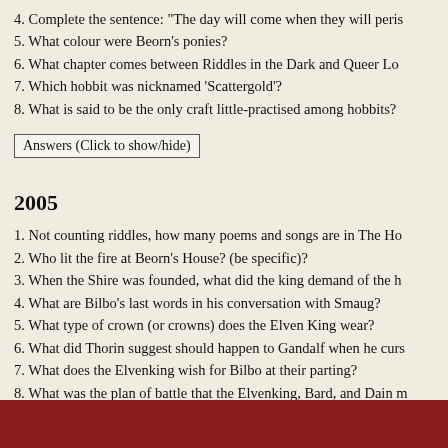4. Complete the sentence: "The day will come when they will peris…
5. What colour were Beorn's ponies?
6. What chapter comes between Riddles in the Dark and Queer Lo…
7. Which hobbit was nicknamed 'Scattergold'?
8. What is said to be the only craft little-practised among hobbits?
Answers (Click to show/hide)
2005
1. Not counting riddles, how many poems and songs are in The Ho…
2. Who lit the fire at Beorn's House? (be specific)?
3. When the Shire was founded, what did the king demand of the h…
4. What are Bilbo's last words in his conversation with Smaug?
5. What type of crown (or crowns) does the Elven King wear?
6. What did Thorin suggest should happen to Gandalf when he curs…
7. What does the Elvenking wish for Bilbo at their parting?
8. What was the plan of battle that the Elvenking, Bard, and Dain m…
Answers (Click to show/hide)